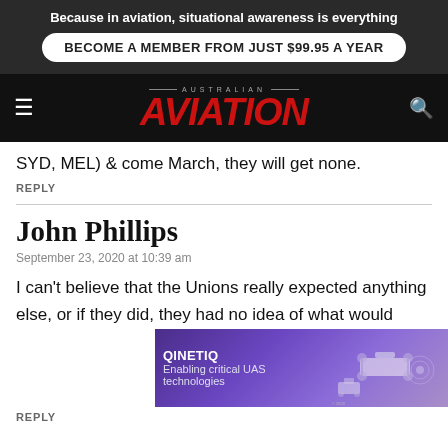Because in aviation, situational awareness is everything
BECOME A MEMBER FROM JUST $99.95 A YEAR
AUSTRALIAN AVIATION
SYD, MEL) & come March, they will get none.
REPLY
John Phillips
September 23, 2020 at 10:39 am
I can't believe that the Unions really expected anything else, or if they did, they had no idea of what would
[Figure (screenshot): QinetiQ advertisement banner: 'Enabling critical UAS technologies' with purple/violet gradient background and drone imagery]
REPLY